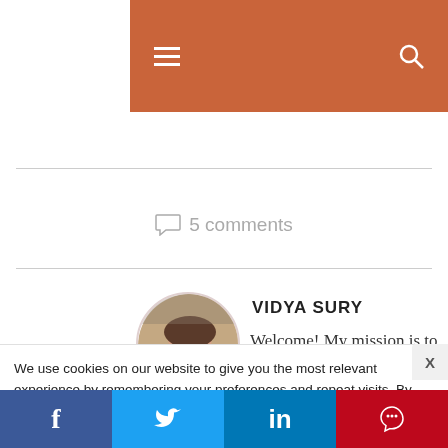[Figure (screenshot): Orange navigation bar with hamburger menu icon on left and search icon on right]
5 comments
[Figure (photo): Circular avatar photo of Vidya Sury, a woman wearing glasses and a pink top]
VIDYA SURY
Welcome! My mission is to make you smile. I enjoy
We use cookies on our website to give you the most relevant experience by remembering your preferences and repeat visits. By clicking “Accept”, you consent to the use of ALL the cookies.
Do not sell my personal information.
[Figure (screenshot): Social sharing bar with Facebook, Twitter, LinkedIn, and Pinterest buttons]